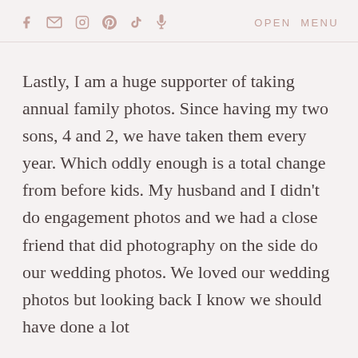f [mail] [instagram] [pinterest] [tiktok] [mic] OPEN MENU
Lastly, I am a huge supporter of taking annual family photos. Since having my two sons, 4 and 2, we have taken them every year. Which oddly enough is a total change from before kids. My husband and I didn't do engagement photos and we had a close friend that did photography on the side do our wedding photos. We loved our wedding photos but looking back I know we should have done a lot